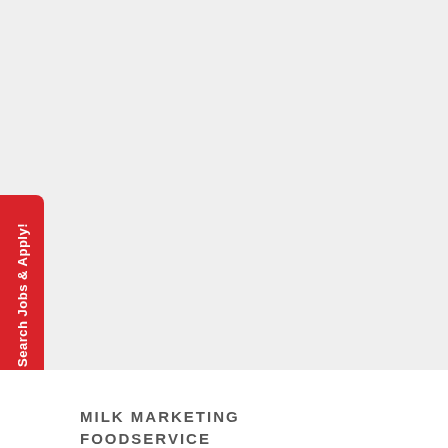[Figure (other): Large light grey rectangular area occupying the top portion of the page, serving as a background image placeholder.]
Search Jobs & Apply!
MILK MARKETING
FOODSERVICE